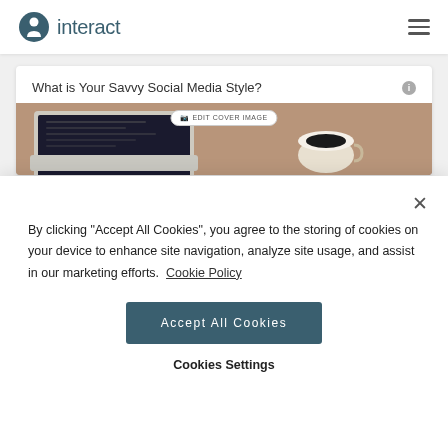interact
What is Your Savvy Social Media Style?
[Figure (screenshot): Edit cover image button overlaid on a cover photo of a laptop and coffee cup on a wooden desk]
By clicking "Accept All Cookies", you agree to the storing of cookies on your device to enhance site navigation, analyze site usage, and assist in our marketing efforts. Cookie Policy
Accept All Cookies
Cookies Settings
cription along with customizing my quiz title and